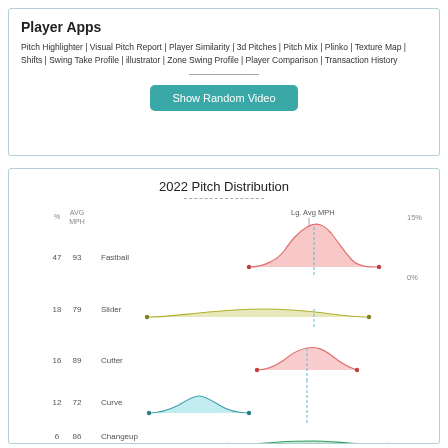Player Apps
Pitch Highlighter | Visual Pitch Report | Player Similarity | 3d Pitches | Pitch Mix | Plinko | Texture Map | Shifts | Swing Take Profile | illustrator | Zone Swing Profile | Player Comparison | Transaction History
[Figure (other): Show Random Video button (teal rounded rectangle)]
[Figure (continuous-plot): 2022 Pitch Distribution chart showing density curves for Fastball (47%, 93 AVG MPH), Slider (18%, 79), Cutter (16%, 89), Curve (12%, 72), Changeup (6%, 86). Each pitch has a colored density/ridge curve plotted along a speed axis with a dashed vertical line indicating Lg. Avg MPH. Y-axis scale shows 0% to 15%.]